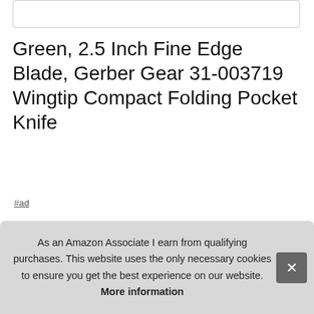[Figure (other): Empty white box at the top of the page]
Green, 2.5 Inch Fine Edge Blade, Gerber Gear 31-003719 Wingtip Compact Folding Pocket Knife
#ad
[Figure (photo): Four product thumbnail images of the Gerber Wingtip folding knife: side view of green knife, disassembled parts, hand holding knife, and dimensional diagram]
Gerber
easy
point blade of 7Cr17Mov Stainless Steel. The wingtip features
As an Amazon Associate I earn from qualifying purchases. This website uses the only necessary cookies to ensure you get the best experience on our website. More information